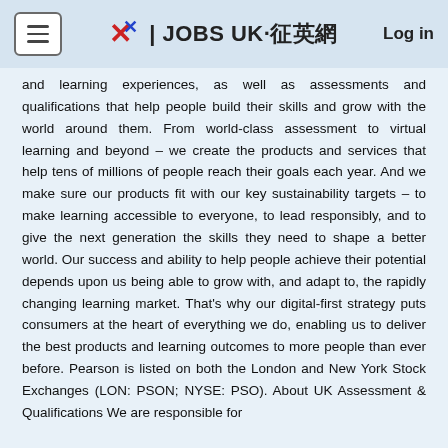JOBS UK·征英網  Log in
and learning experiences, as well as assessments and qualifications that help people build their skills and grow with the world around them. From world-class assessment to virtual learning and beyond – we create the products and services that help tens of millions of people reach their goals each year. And we make sure our products fit with our key sustainability targets – to make learning accessible to everyone, to lead responsibly, and to give the next generation the skills they need to shape a better world. Our success and ability to help people achieve their potential depends upon us being able to grow with, and adapt to, the rapidly changing learning market. That's why our digital-first strategy puts consumers at the heart of everything we do, enabling us to deliver the best products and learning outcomes to more people than ever before. Pearson is listed on both the London and New York Stock Exchanges (LON: PSON; NYSE: PSO). About UK Assessment & Qualifications We are responsible for